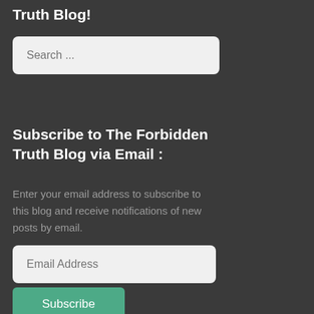Truth Blog!
[Figure (screenshot): Search input field with placeholder text 'Search ...' on a light grey rounded rectangle background]
Subscribe to The Forbidden Truth Blog via Email :
Enter your email address to subscribe to this blog and receive notifications of new posts by email.
[Figure (screenshot): Email address input field with placeholder text 'Email Address' on a light grey rounded rectangle background]
[Figure (screenshot): Green Subscribe button]